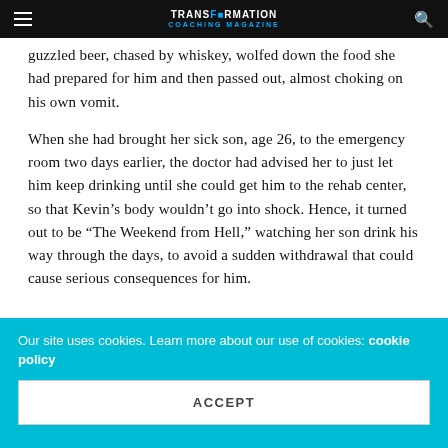TRANSFORMATION COACHING MAGAZINE
guzzled beer, chased by whiskey, wolfed down the food she had prepared for him and then passed out, almost choking on his own vomit.
When she had brought her sick son, age 26, to the emergency room two days earlier, the doctor had advised her to just let him keep drinking until she could get him to the rehab center, so that Kevin’s body wouldn’t go into shock. Hence, it turned out to be “The Weekend from Hell,” watching her son drink his way through the days, to avoid a sudden withdrawal that could cause serious consequences for him.
Our site uses cookies. Learn more about our use of cookies: cookie policy
ACCEPT